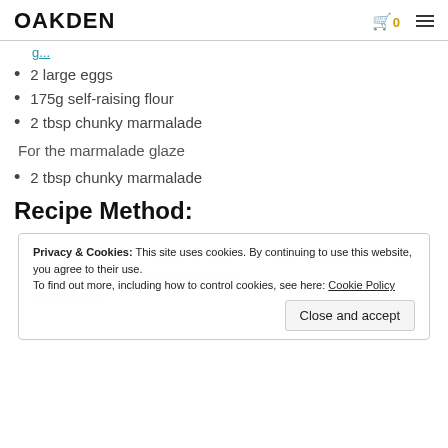OAKDEN
2 large eggs
175g self-raising flour
2 tbsp chunky marmalade
For the marmalade glaze
2 tbsp chunky marmalade
Recipe Method:
Privacy & Cookies: This site uses cookies. By continuing to use this website, you agree to their use. To find out more, including how to control cookies, see here: Cookie Policy
Grease a 900g (2lb) loaf tin and line the base with baking parchment.